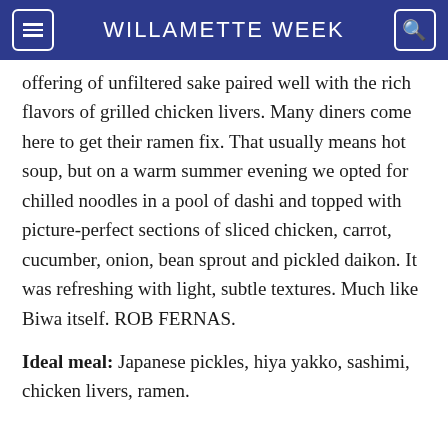WILLAMETTE WEEK
offering of unfiltered sake paired well with the rich flavors of grilled chicken livers. Many diners come here to get their ramen fix. That usually means hot soup, but on a warm summer evening we opted for chilled noodles in a pool of dashi and topped with picture-perfect sections of sliced chicken, carrot, cucumber, onion, bean sprout and pickled daikon. It was refreshing with light, subtle textures. Much like Biwa itself. ROB FERNAS.
Ideal meal: Japanese pickles, hiya yakko, sashimi, chicken livers, ramen.